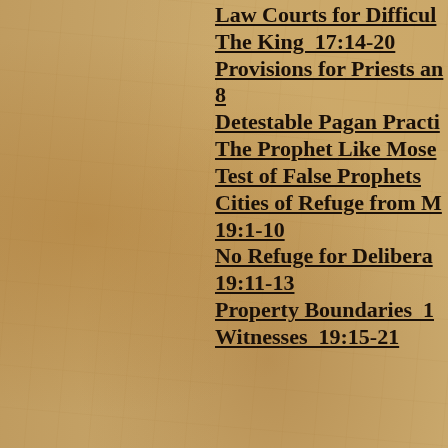Law Courts for Difficult Cases
The King  17:14-20
Provisions for Priests and Levites  18:1-8
Detestable Pagan Practices
The Prophet Like Moses
Test of False Prophets
Cities of Refuge from Murder  19:1-10
No Refuge for Deliberate Killers  19:11-13
Property Boundaries  19:14
Witnesses  19:15-21